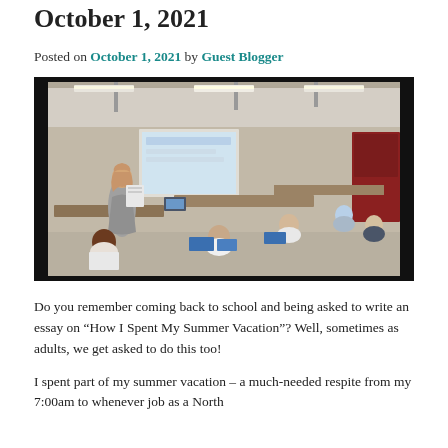October 1, 2021
Posted on October 1, 2021 by Guest Blogger
[Figure (photo): A classroom or training room scene with a presenter standing at the front holding a binder, a projected screen on the wall, and multiple adults seated at tables working with materials. The room has exposed ceiling ductwork and fluorescent lighting.]
Do you remember coming back to school and being asked to write an essay on “How I Spent My Summer Vacation”? Well, sometimes as adults, we get asked to do this too!
I spent part of my summer vacation – a much-needed respite from my 7:00am to whenever job as a North